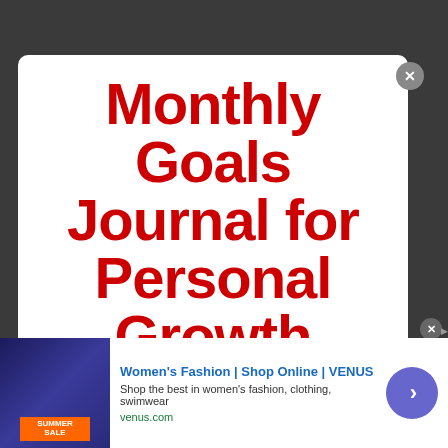Monthly Goals Journal for Personal Growth
[Figure (screenshot): Advertisement banner for Women's Fashion at VENUS with sale image, blue arrow button, and close button]